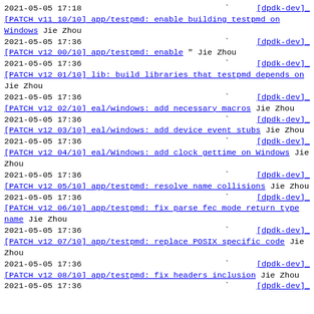2021-05-05 17:18 ` [dpdk-dev]_[PATCH v11 10/10] app/testpmd: enable building testpmd on Windows Jie Zhou
2021-05-05 17:36 ` [dpdk-dev]_[PATCH v12 00/10] app/testpmd: enable " Jie Zhou
2021-05-05 17:36 ` [dpdk-dev]_[PATCH v12 01/10] lib: build libraries that testpmd depends on Jie Zhou
2021-05-05 17:36 ` [dpdk-dev]_[PATCH v12 02/10] eal/windows: add necessary macros Jie Zhou
2021-05-05 17:36 ` [dpdk-dev]_[PATCH v12 03/10] eal/windows: add device event stubs Jie Zhou
2021-05-05 17:36 ` [dpdk-dev]_[PATCH v12 04/10] eal/Windows: add clock gettime on Windows Jie Zhou
2021-05-05 17:36 ` [dpdk-dev]_[PATCH v12 05/10] app/testpmd: resolve name collisions Jie Zhou
2021-05-05 17:36 ` [dpdk-dev]_[PATCH v12 06/10] app/testpmd: fix parse fec mode return type name Jie Zhou
2021-05-05 17:36 ` [dpdk-dev]_[PATCH v12 07/10] app/testpmd: replace POSIX specific code Jie Zhou
2021-05-05 17:36 ` [dpdk-dev]_[PATCH v12 08/10] app/testpmd: fix headers inclusion Jie Zhou
2021-05-05 17:36 [dpdk-dev]_